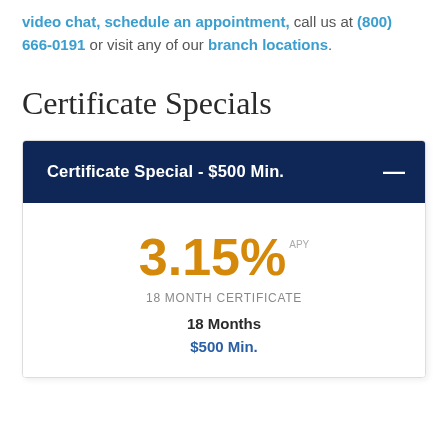video chat, schedule an appointment, call us at (800) 666-0191 or visit any of our branch locations.
Certificate Specials
| Certificate Special - $500 Min. |
| --- |
| 3.15% APY | 18 MONTH CERTIFICATE | 18 Months | $500 Min. |